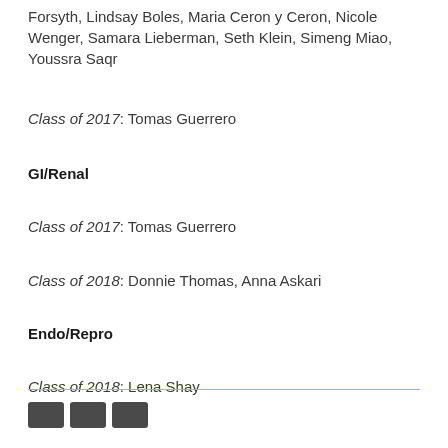Forsyth, Lindsay Boles, Maria Ceron y Ceron, Nicole Wenger, Samara Lieberman, Seth Klein, Simeng Miao, Youssra Saqr
Class of 2017: Tomas Guerrero
GI/Renal
Class of 2017: Tomas Guerrero
Class of 2018: Donnie Thomas, Anna Askari
Endo/Repro
Class of 2018: Lena Shay